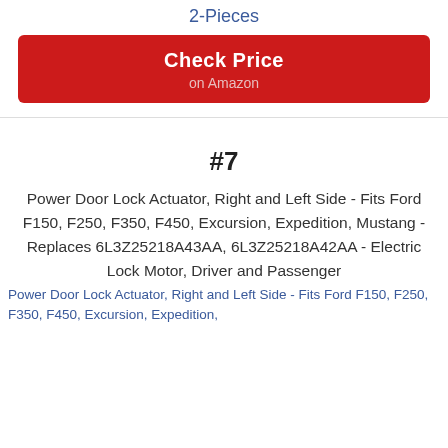2-Pieces
Check Price on Amazon
#7
[Figure (photo): Product image placeholder for Power Door Lock Actuator]
Power Door Lock Actuator, Right and Left Side - Fits Ford F150, F250, F350, F450, Excursion, Expedition, Mustang - Replaces 6L3Z25218A43AA, 6L3Z25218A42AA - Electric Lock Motor, Driver and Passenger
Power Door Lock Actuator, Right and Left Side - Fits Ford F150, F250, F350, F450, Excursion, Expedition,